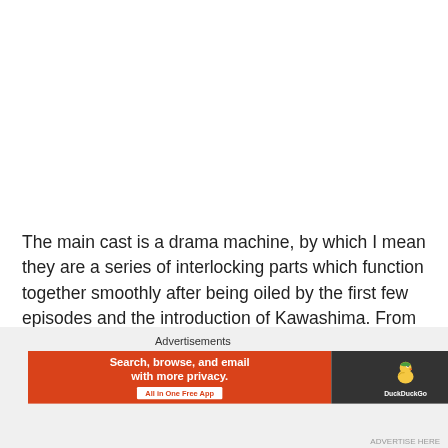The main cast is a drama machine, by which I mean they are a series of interlocking parts which function together smoothly after being oiled by the first few episodes and the introduction of Kawashima. From there, goals become solidified, but the character's relationships continue to be fluid.
[Figure (other): DuckDuckGo advertisement banner with orange background on the left reading 'Search, browse, and email with more privacy. All in One Free App' and dark background on the right featuring the DuckDuckGo duck logo and brand name.]